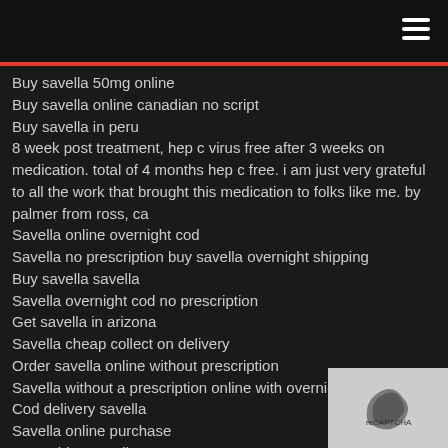Buy savella 50mg online
Buy savella online canadian no script
Buy savella in peru
8 week post treatment, hep c virus free after 3 weeks on medication. total of 4 months hep c free. i am just very grateful to all the work that brought this medication to folks like me. by palmer from ross, ca
Savella online overnight cod
Savella no prescription buy savella overnight shipping
Buy savella savella
Savella overnight cod no prescription
Get savella in arizona
Savella cheap collect on delivery
Order savella online without prescription
Savella without a prescription online with overnight delivery
Cod delivery savella
Savella online purchase
30 mg blue savella
Buy savella online in.